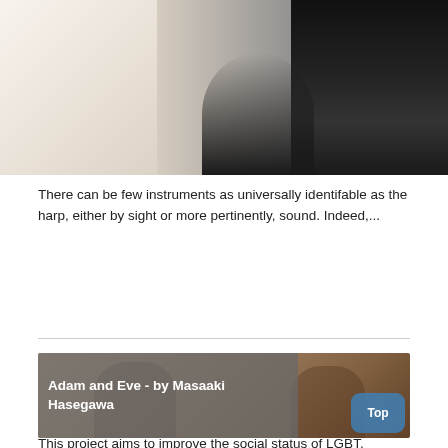[Figure (photo): Top portion of a photo showing a person in a black dress against a light background]
There can be few instruments as universally identifable as the harp, either by sight or more pertinently, sound. Indeed,...
[Figure (photo): Article card showing 'Adam and Eve - by Masaaki Hasegawa' with a sepia-toned photo of two people sitting in wicker chairs, with a semi-transparent grey overlay containing the title text, and a blue 'Top' button in the bottom right corner]
This project aims to improve the social status of LGBT, especially female